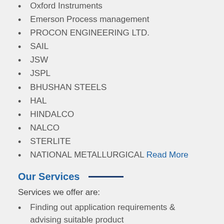Oxford Instruments
Emerson Process management
PROCON ENGINEERING LTD.
SAIL
JSW
JSPL
BHUSHAN STEELS
HAL
HINDALCO
NALCO
STERLITE
NATIONAL METALLURGICAL  Read More
Our Services
Services we offer are:
Finding out application requirements & advising suitable product
Providing complete technical support like